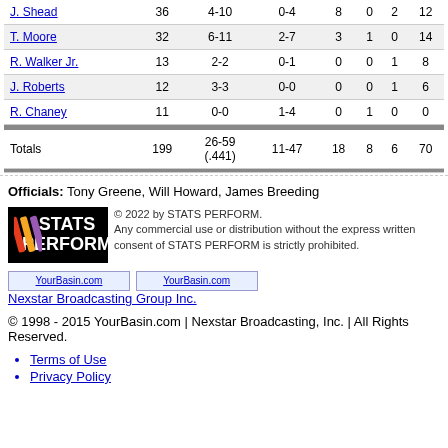| Player | Min | FG | 3PT | Reb | Ast | Blk | Pts |
| --- | --- | --- | --- | --- | --- | --- | --- |
| J. Shead | 36 | 4-10 | 0-4 | 8 | 0 | 2 | 12 |
| T. Moore | 32 | 6-11 | 2-7 | 3 | 1 | 0 | 14 |
| R. Walker Jr. | 13 | 2-2 | 0-1 | 0 | 0 | 1 | 8 |
| J. Roberts | 12 | 3-3 | 0-0 | 0 | 0 | 1 | 6 |
| R. Chaney | 11 | 0-0 | 1-4 | 0 | 1 | 0 | 0 |
| Totals | 199 | 26-59 (.441) | 11-47 | 18 | 8 | 6 | 70 |
Officials: Tony Greene, Will Howard, James Breeding
[Figure (logo): STATS PERFORM logo, black background with colored slashes]
© 2022 by STATS PERFORM. Any commercial use or distribution without the express written consent of STATS PERFORM is strictly prohibited.
YourBasin.com YourBasin.com Nexstar Broadcasting Group Inc.
© 1998 - 2015 YourBasin.com | Nexstar Broadcasting, Inc. | All Rights Reserved.
Terms of Use
Privacy Policy